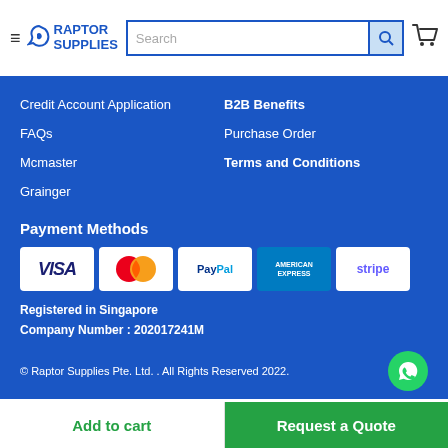[Figure (logo): Raptor Supplies logo with hamburger menu, search bar, and cart icon in white header]
Credit Account Application
B2B Benefits
FAQs
Purchase Order
Mcmaster
Terms and Conditions
Grainger
Payment Methods
[Figure (infographic): Payment method logos: VISA, Mastercard, PayPal, American Express, Stripe]
Registered in Singapore
Company Number : 202017241M
© Raptor Supplies Pte. Ltd. . All Rights Reserved 2022.
Add to cart
Request a Quote